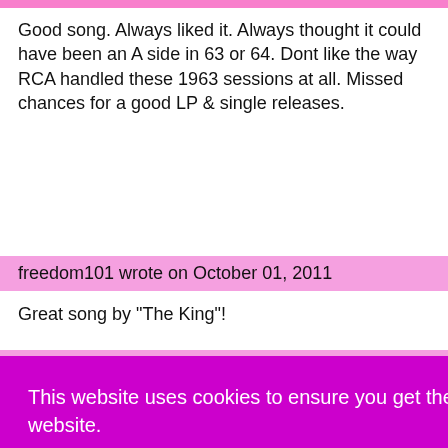Good song. Always liked it. Always thought it could have been an A side in 63 or 64. Dont like the way RCA handled these 1963 sessions at all. Missed chances for a good LP & single releases.
freedom101 wrote on October 01, 2011
Great song by "The King"!
old shep wrote on December 09, 2011
A good song which may have become a chart
This website uses cookies to ensure you get the best experience on our website.
Learn more
Got it!
on this great track.